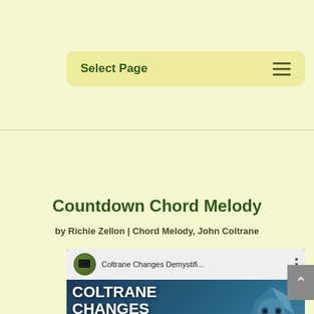Select Page
Countdown Chord Melody
by Richie Zellon | Chord Melody, John Coltrane
[Figure (screenshot): YouTube video thumbnail for 'Coltrane Changes Demystifi...' showing bold text 'COLTRANE CHANGES DEMYSTI...' with a YouTube play button overlay and an illustrated portrait of John Coltrane on the right side]